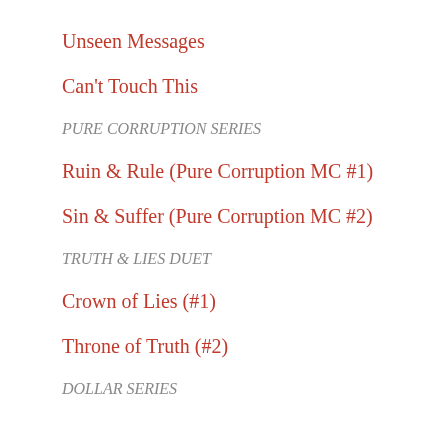Unseen Messages
Can't Touch This
PURE CORRUPTION SERIES
Ruin & Rule (Pure Corruption MC #1)
Sin & Suffer (Pure Corruption MC #2)
TRUTH & LIES DUET
Crown of Lies (#1)
Throne of Truth (#2)
DOLLAR SERIES